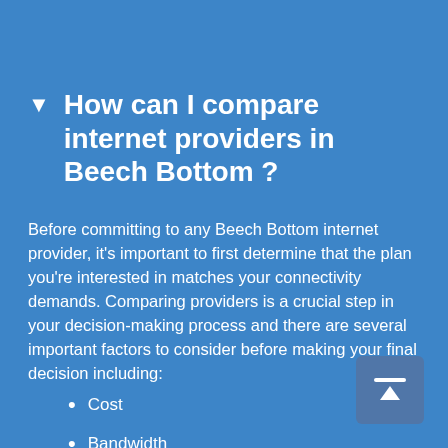How can I compare internet providers in Beech Bottom ?
Before committing to any Beech Bottom internet provider, it's important to first determine that the plan you're interested in matches your connectivity demands. Comparing providers is a crucial step in your decision-making process and there are several important factors to consider before making your final decision including:
Cost
Bandwidth